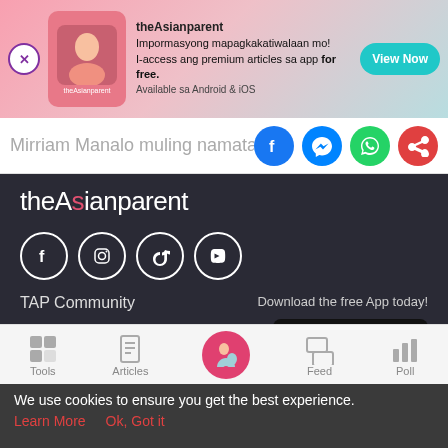[Figure (infographic): theAsianparent app advertisement banner with pink gradient background, close button, app image, tagline in Filipino, and View Now button]
Mirriam Manalo muling namatayan ng
[Figure (infographic): Social share icons: Facebook, Messenger, WhatsApp, Share]
theAsianparent
[Figure (infographic): Social media icons: Facebook, Instagram, TikTok, YouTube]
TAP Community
Download the free App today!
Advertise With Us
[Figure (infographic): GET IT ON Google Play button]
[Figure (infographic): Bottom navigation bar with Tools, Articles, home (pregnant woman icon), Feed, Poll]
We use cookies to ensure you get the best experience.
Learn More    Ok, Got it